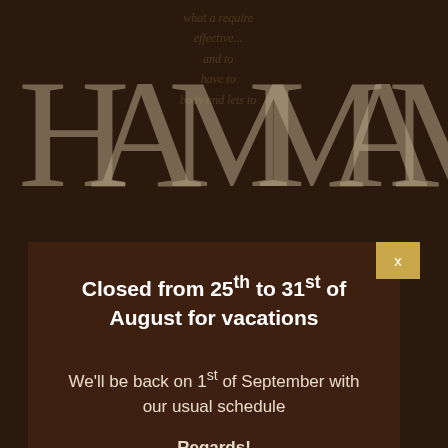[Figure (logo): HAMMAM logo with ornate architectural letterforms in muted gold on dark brown background]
Closed from 25th to 31st of August for vacations
We'll be back on 1st of September with our usual schedule
Regards!
CEREMONY "NEW"
85.00€ VAT
Included
60-minute private session in